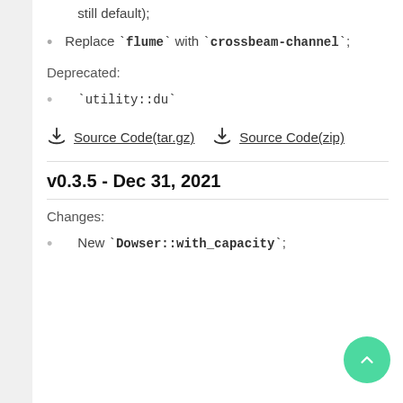still default);
Replace `flume` with `crossbeam-channel`;
Deprecated:
`utility::du`
Source Code(tar.gz)   Source Code(zip)
v0.3.5 - Dec 31, 2021
Changes:
New `Dowser::with_capacity`;